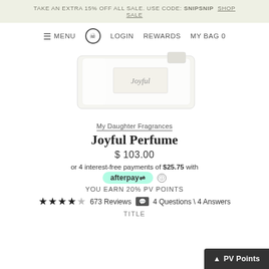TAKE AN EXTRA 15% OFF ALL SALE. USE CODE: SNIPSNIP  SHOP SALE
≡ MENU  LOGIN  REWARDS  MY BAG 0
[Figure (photo): Product image of Joyful Perfume bottle - a clear glass rectangular bottle with script label]
My Daughter Fragrances
Joyful Perfume
$ 103.00
or 4 interest-free payments of $25.75 with afterpay
YOU EARN 20% PV POINTS
★★★★☆ 673 Reviews  💬 4 Questions \ 4 Answers
TITLE